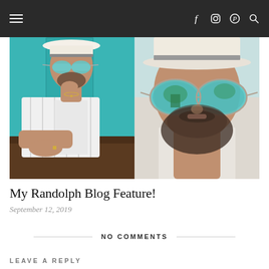Navigation bar with hamburger menu and social icons (f, Instagram, Pinterest, search)
[Figure (photo): Two side-by-side photos of a bearded man wearing mirrored round sunglasses and a white hat. Left photo shows him leaning on a table in a striped blazer with a teal door background. Right photo is a close-up of his face showing the sunglasses reflecting trees.]
My Randolph Blog Feature!
September 12, 2019
NO COMMENTS
LEAVE A REPLY